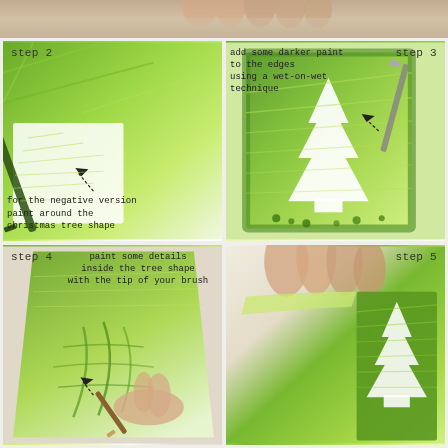[Figure (photo): Top strip showing hands working on a craft project with green paint]
[Figure (photo): Step 2: Painting around a christmas tree shape (negative version) on a white card with bright green paint using a brush]
step 2
for the negative version paint around the christmas tree shape
[Figure (photo): Step 3: Adding darker paint to the edges using a wet-on-wet technique, showing a white tree silhouette surrounded by green paint]
step 3
add some darker paint to the edges using a wet-on-wet technique
[Figure (photo): Step 4: Painting some details inside the tree shape with the tip of a brush]
step 4
paint some details inside the tree shape with the tip of your brush
[Figure (photo): Step 5: Peeling back a stencil or layer from a painted green card showing a christmas tree pattern]
step 5